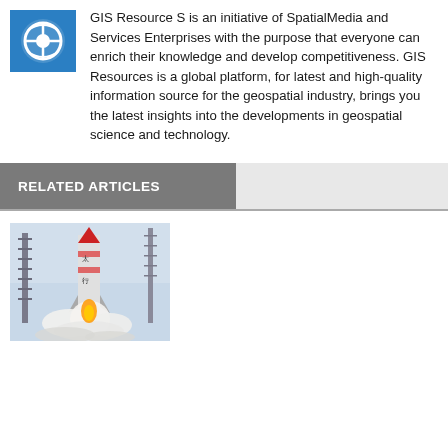[Figure (logo): GIS Resources logo - blue circular icon with white GIS graphic]
GIS Resource S is an initiative of SpatialMedia and Services Enterprises with the purpose that everyone can enrich their knowledge and develop competitiveness. GIS Resources is a global platform, for latest and high-quality information source for the geospatial industry, brings you the latest insights into the developments in geospatial science and technology.
RELATED ARTICLES
[Figure (photo): Rocket launch photo showing a rocket (Long March) lifting off with smoke and flames, with launch tower visible]